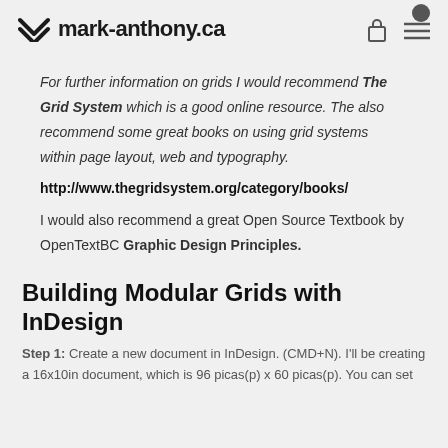mark-anthony.ca
For further information on grids I would recommend The Grid System which is a good online resource. The also recommend some great books on using grid systems within page layout, web and typography.
http://www.thegridsystem.org/category/books/
I would also recommend a great Open Source Textbook by OpenTextBC Graphic Design Principles.
Building Modular Grids with InDesign
Step 1: Create a new document in InDesign. (CMD+N). I'll be creating a 16x10in document, which is 96 picas(p) x 60 picas(p). You can set